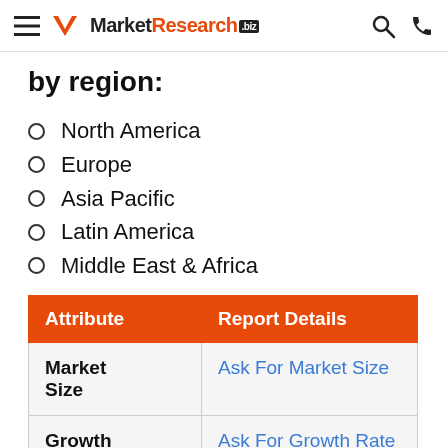MarketResearch.biz
by region:
North America
Europe
Asia Pacific
Latin America
Middle East & Africa
| Attribute | Report Details |
| --- | --- |
| Market Size | Ask For Market Size |
| Growth Rate | Ask For Growth Rate |